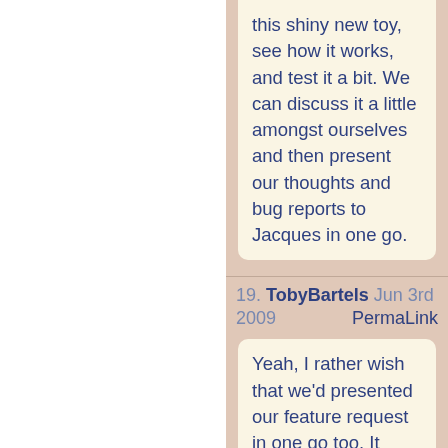this shiny new toy, see how it works, and test it a bit. We can discuss it a little amongst ourselves and then present our thoughts and bug reports to Jacques in one go.
19. TobyBartels  Jun 3rd 2009  PermaLink
Yeah, I rather wish that we'd presented our feature request in one go too. It might have had all of the features that we wanted then!

And Eric, I agree not to create a bunch of */history pages yet. I did